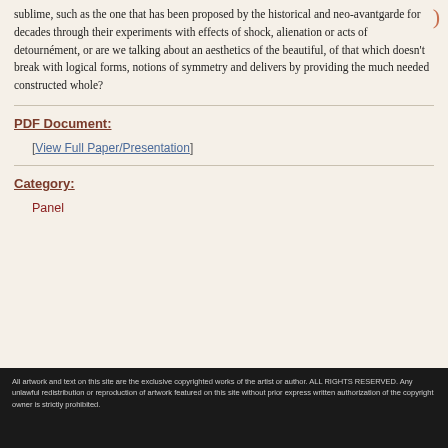sublime, such as the one that has been proposed by the historical and neo-avantgarde for decades through their experiments with effects of shock, alienation or acts of detournément, or are we talking about an aesthetics of the beautiful, of that which doesn't break with logical forms, notions of symmetry and delivers by providing the much needed constructed whole?
PDF Document:
[View Full Paper/Presentation]
Category:
Panel
All artwork and text on this site are the exclusive copyrighted works of the artist or author. ALL RIGHTS RESERVED. Any unlawful redistribution or reproduction of artwork featured on this site without prior express written authorization of the copyright owner is strictly prohibited.